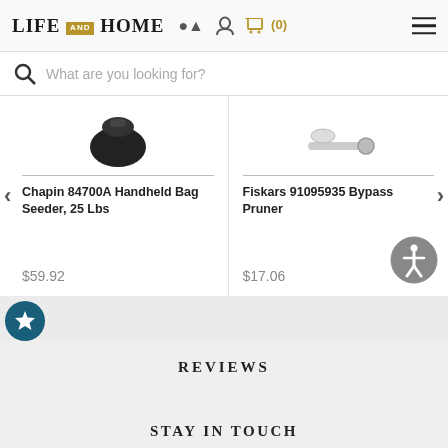LIFE AND HOME  (0)
What are you looking for?
Chapin 84700A Handheld Bag Seeder, 25 Lbs
$59.92
Fiskars 91095935 Bypass Pruner
$17.06
REVIEWS
STAY IN TOUCH